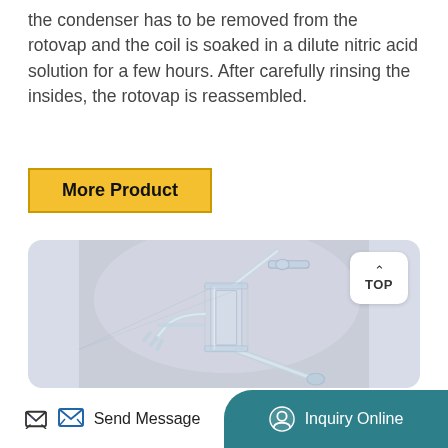the condenser has to be removed from the rotovap and the coil is soaked in a dilute nitric acid solution for a few hours. After carefully rinsing the insides, the rotovap is reassembled.
More Product
[Figure (photo): Close-up photograph of a glass laboratory apparatus (rotovap condenser component) with glass tubing, stopcock, and joints, set against a light blue-grey background. A 'TOP' navigation button appears in the upper right corner of the image.]
Send Message   Inquiry Online